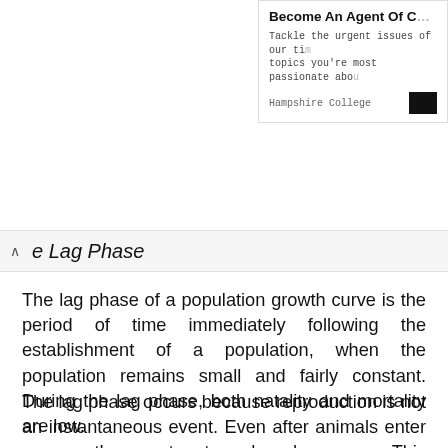[Figure (screenshot): Partial advertisement banner for Hampshire College reading 'Become An Agent Of C[hange]' with text 'Tackle the urgent issues of our ti[me]... topics you're most passionate abo[ut]' and Hampshire College branding with a dark button.]
e Lag Phase
The lag phase of a population growth curve is the period of time immediately following the establishment of a population, when the population remains small and fairly constant. During the lag phase, both natality and mortality are low.
The lag phase occurs because reproduction is not an instantaneous event. Even after animals enter an area, they must mate and produce young. This may take days or years, depending on the